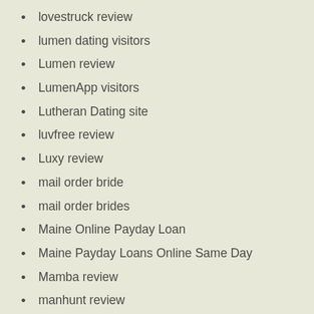lovestruck review
lumen dating visitors
Lumen review
LumenApp visitors
Lutheran Dating site
luvfree review
Luxy review
mail order bride
mail order brides
Maine Online Payday Loan
Maine Payday Loans Online Same Day
Mamba review
manhunt review
Married Secrets review
married-dating-philadelphia-pennsylvania review